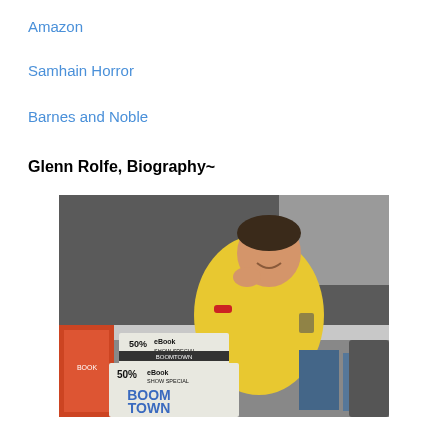Amazon
Samhain Horror
Barnes and Noble
Glenn Rolfe, Biography~
[Figure (photo): Photo of Glenn Rolfe sitting at a convention table wearing a yellow t-shirt and red wristband, smiling, with books and signs displaying '50% off eBook Show Special' and 'Boom Town' visible on the table.]